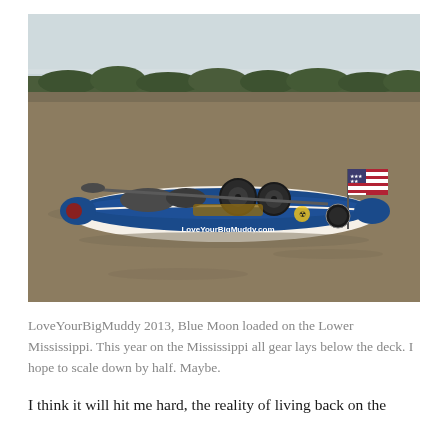[Figure (photo): A blue touring kayak named 'Blue Moon' loaded with gear including large wheels on a muddy river (Lower Mississippi). The kayak has a small American flag at the stern and text on the hull reading 'LoveYourBigMuddy.com'. The background shows a wide, calm river with a tree line on the far shore under an overcast sky.]
LoveYourBigMuddy 2013, Blue Moon loaded on the Lower Mississippi. This year on the Mississippi all gear lays below the deck. I hope to scale down by half. Maybe.
I think it will hit me hard, the reality of living back on the